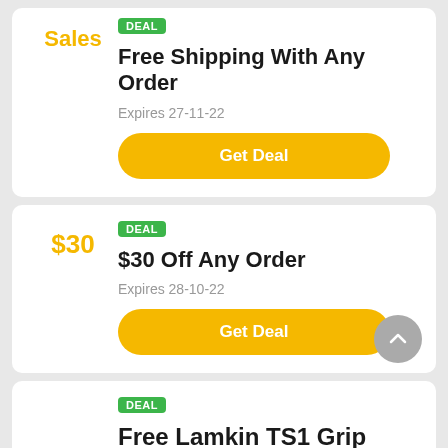Sales
Free Shipping With Any Order
Expires 27-11-22
Get Deal
$30
$30 Off Any Order
Expires 28-10-22
Get Deal
Free Lamkin TS1 Grip With Every Order At